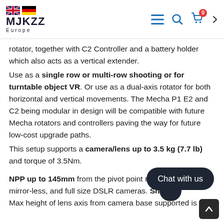MJKZZ Europe — navigation header with UK/German flags, menu, search, cart icons
rotator, together with C2 Controller and a battery holder which also acts as a vertical extender.
Use as a single row or multi-row shooting or for turntable object VR. Or use as a dual-axis rotator for both horizontal and vertical movements. The Mecha P1 E2 and C2 being modular in design will be compatible with future Mecha rotators and controllers paving the way for future low-cost upgrade paths.
This setup supports a camera/lens up to 3.5 kg (7.7 lb) and torque of 3.5Nm.
NPP up to 145mm from the pivot point making it ideal for mirror-less, and full size DSLR cameras. Sh… panoramas or even high-resolution g…
Max height of lens axis from camera base supported is 76.5…